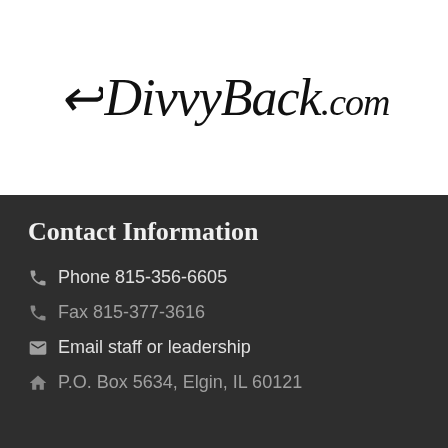DivvyBack.com
Contact Information
Phone 815-356-6605
Fax 815-377-3616
Email staff or leadership
P.O. Box 5634, Elgin, IL 60121